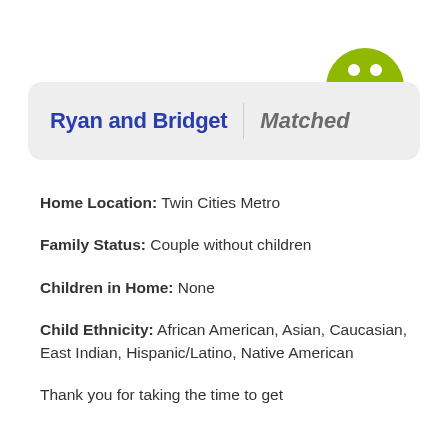Ryan and Bridget | Matched
Home Location: Twin Cities Metro
Family Status: Couple without children
Children in Home: None
Child Ethnicity: African American, Asian, Caucasian, East Indian, Hispanic/Latino, Native American
Thank you for taking the time to get